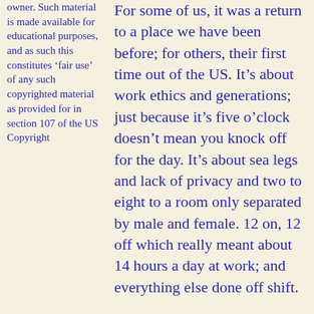owner. Such material is made available for educational purposes, and as such this constitutes 'fair use' of any such copyrighted material as provided for in section 107 of the US Copyright
For some of us, it was a return to a place we have been before; for others, their first time out of the US. It’s about work ethics and generations; just because it’s five o’clock doesn’t mean you knock off for the day. It’s about sea legs and lack of privacy and two to eight to a room only separated by male and female. 12 on, 12 off which really meant about 14 hours a day at work; and everything else done off shift.
It’s about ironies, one ships cook got sick and there was no replacement, so the crew took turns cooking. The US riders said